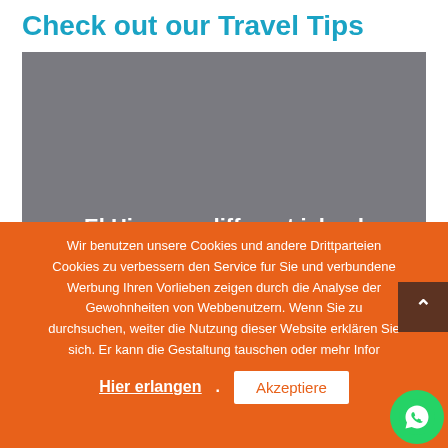Check out our Travel Tips
[Figure (photo): Gray card showing 'El Hierro, a different island' with white text title and description paragraph on a muted gray background]
Wir benutzen unsere Cookies und andere Drittparteien Cookies zu verbessern den Service fur Sie und verbundene Werbung Ihren Vorlieben zeigen durch die Analyse der Gewohnheiten von Webbenutzern. Wenn Sie zu durchsuchen, weiter die Nutzung dieser Website erklaren Sie sich. Er kann die Gestaltung tauschen oder mehr Infor
Hier erlangen
Akzeptiere